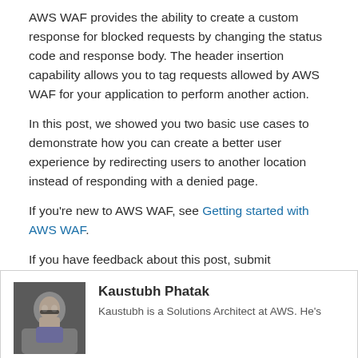AWS WAF provides the ability to create a custom response for blocked requests by changing the status code and response body. The header insertion capability allows you to tag requests allowed by AWS WAF for your application to perform another action.
In this post, we showed you two basic use cases to demonstrate how you can create a better user experience by redirecting users to another location instead of responding with a denied page.
If you're new to AWS WAF, see Getting started with AWS WAF.
If you have feedback about this post, submit comments in the Comments section below. If you have questions about this post, start a new thread on the AWS WAF forum or contact AWS Support.
Want more AWS Security how-to content, news, and feature announcements? Follow us on Twitter.
[Figure (photo): Author photo of Kaustubh Phatak, a Solutions Architect at AWS.]
Kaustubh Phatak
Kaustubh is a Solutions Architect at AWS. He's